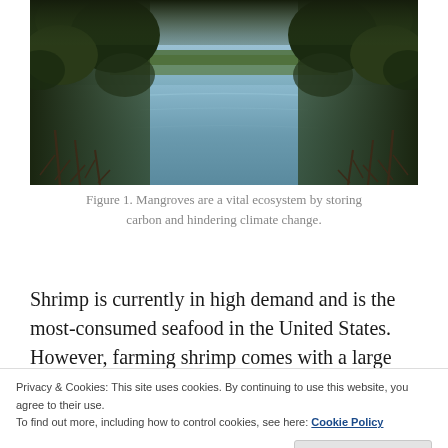[Figure (photo): A waterway flanked by mangrove trees with their distinctive aerial roots visible along both sides, with open water in the center reflecting the sky, and dense green mangrove canopy overhead.]
Figure 1. Mangroves are a vital ecosystem by storing carbon and hindering climate change.
Shrimp is currently in high demand and is the most-consumed seafood in the United States. However, farming shrimp comes with a large sacrifice. Shrimp are found in shrimp ponds, which are converted from
Privacy & Cookies: This site uses cookies. By continuing to use this website, you agree to their use.
To find out more, including how to control cookies, see here: Cookie Policy
the world's most threatened ecosystems, with about 50